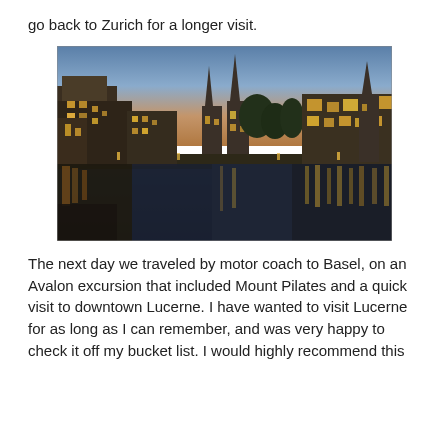go back to Zurich for a longer visit.
[Figure (photo): Nighttime/dusk cityscape of Zurich waterfront showing illuminated church spires, historic buildings along the Limmat river, with warm city lights reflecting in the water. Sky shows twilight blue-orange gradient.]
The next day we traveled by motor coach to Basel, on an Avalon excursion that included Mount Pilates and a quick visit to downtown Lucerne. I have wanted to visit Lucerne for as long as I can remember, and was very happy to check it off my bucket list. I would highly recommend this excursion, the views from Mt. Pilatus are simply beautiful